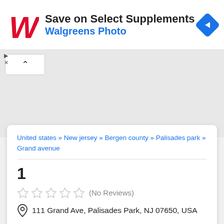[Figure (screenshot): Walgreens ad banner with red W logo, text 'Save on Select Supplements' and 'Walgreens Photo', blue navigation arrow icon, and close/play controls]
[Figure (map): Gray map area with collapse/hide button (caret up) in top-left corner]
United states » New jersey » Bergen county » Palisades park » Grand avenue
1
(No Reviews)
111 Grand Ave, Palisades Park, NJ 07650, USA
Report incorrect info
Share